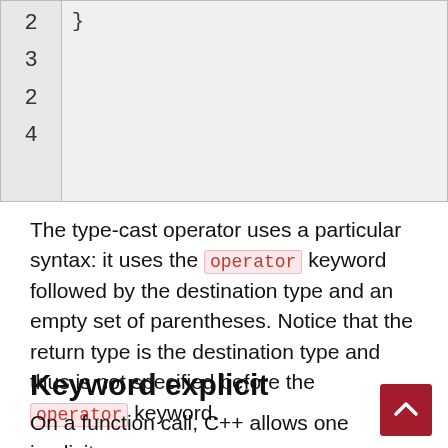[Figure (screenshot): Code block with line numbers 2, 3, 2, 4 on the left gutter and a closing brace } in the code area on the right.]
The type-cast operator uses a particular syntax: it uses the operator keyword followed by the destination type and an empty set of parentheses. Notice that the return type is the destination type and thus is not specified before the operator keyword.
Keyword explicit
On a function call, C++ allows one implicit conversion to take place from one argument to…